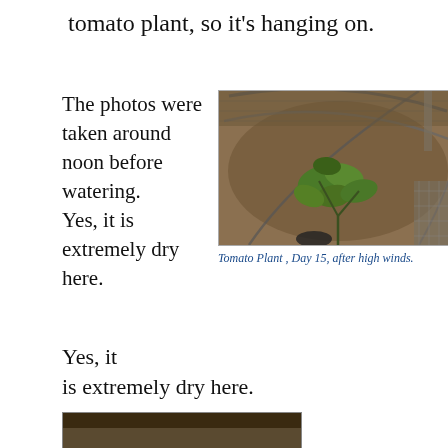tomato plant, so it's hanging on.
The photos were taken around noon before watering.
Yes, it is extremely dry here.
[Figure (photo): A tomato plant in a circular wire cage/container filled with dry soil, photographed from above around noon. The small tomato plant has green leaves and is surrounded by dry, cracked earth. Drip irrigation lines are visible.]
Tomato Plant , Day 15, after high winds.
[Figure (photo): Partial view of another photo at the bottom of the page, showing dark soil or ground.]